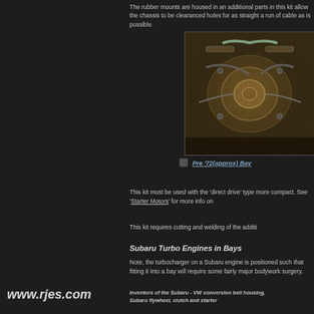The rubber mounts are housed in an additional parts in this kit allow the chassis to be clearanced holes for as straight a run of cable as is possible.
[Figure (photo): Pre '72(approx) Bay engine bay photograph showing engine components]
Pre '72(approx) Bay
This kit must be used with the 'direct drive' type more compact. See 'Starter Motors' for more info on
This kit requires cutting and welding of the additi
Subaru Turbo Engines in Bays
Note, the turbocharger on a Subaru engine is positioned such that fitting it into a bay will require some fairly major bodywork surgery.
www.rjes.com
Inventors of the Subaru - VW conversion bell housing, Subaru flywheel, clutch and starter